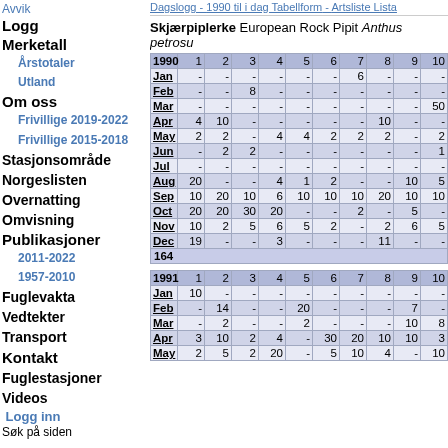Avvik - Dagslogg - 1990 til i dag Tabellform - Artsliste Lista
Skjærpiplerke European Rock Pipit Anthus petrosus
| 1990 | 1 | 2 | 3 | 4 | 5 | 6 | 7 | 8 | 9 | 10 |
| --- | --- | --- | --- | --- | --- | --- | --- | --- | --- | --- |
| Jan | - | - | - | - | - | - | 6 | - | - | - |
| Feb | - | - | 8 | - | - | - | - | - | - | - |
| Mar | - | - | - | - | - | - | - | - | - | 50 |
| Apr | 4 | 10 | - | - | - | - | - | 10 | - | - |
| May | 2 | 2 | - | 4 | 4 | 2 | 2 | 2 | - | 2 |
| Jun | - | 2 | 2 | - | - | - | - | - | - | 1 |
| Jul | - | - | - | - | - | - | - | - | - | - |
| Aug | 20 | - | - | 4 | 1 | 2 | - | - | 10 | 5 |
| Sep | 10 | 20 | 10 | 6 | 10 | 10 | 10 | 20 | 10 | 10 |
| Oct | 20 | 20 | 30 | 20 | - | - | 2 | - | 5 | - |
| Nov | 10 | 2 | 5 | 6 | 5 | 2 | - | 2 | 6 | 5 |
| Dec | 19 | - | - | 3 | - | - | - | 11 | - | - |
| 164 |  |  |  |  |  |  |  |  |  |  |
| 1991 | 1 | 2 | 3 | 4 | 5 | 6 | 7 | 8 | 9 | 10 |
| --- | --- | --- | --- | --- | --- | --- | --- | --- | --- | --- |
| Jan | 10 | - | - | - | - | - | - | - | - | - |
| Feb | - | 14 | - | - | 20 | - | - | - | 7 | - |
| Mar | - | 2 | - | - | 2 | - | - | - | 10 | 8 |
| Apr | 3 | 10 | 2 | 4 | - | 30 | 20 | 10 | 10 | 3 |
| May | 2 | 5 | 2 | 20 | - | 5 | 10 | 4 | - | 10 |
Logg
Merketall
Årstotaler
Utland
Om oss
Frivillige 2019-2022
Frivillige 2015-2018
Stasjonsområde
Norgeslisten
Overnatting
Omvisning
Publikasjoner
2011-2022
1957-2010
Fuglevakta
Vedtekter
Transport
Kontakt
Fuglestasjoner
Videos
Logg inn